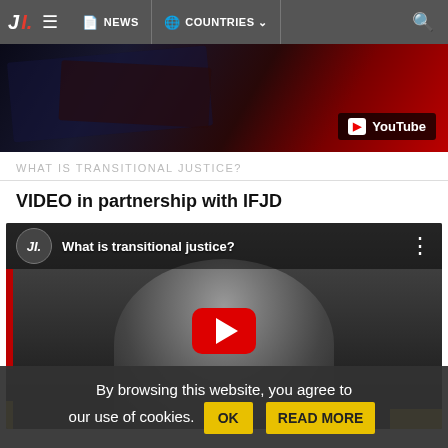JI. NEWS COUNTRIES
[Figure (screenshot): Dark banner image with abstract shapes and YouTube logo badge in bottom right]
WHAT IS TRANSITIONAL JUSTICE?
VIDEO in partnership with IFJD
[Figure (screenshot): YouTube embedded video player showing 'What is transitional justice?' with a man in dark suit, red play button in center, JI channel logo top left]
By browsing this website, you agree to our use of cookies. OK READ MORE